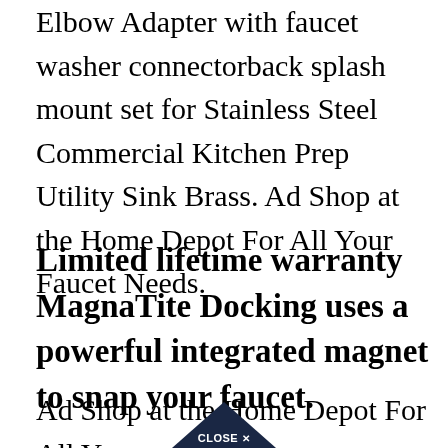Mounting Installation Kit SLIK S Faucet Elbow Adapter with faucet washer connectorback splash mount set for Stainless Steel Commercial Kitchen Prep Utility Sink Brass. Ad Shop at the Home Depot For All Your Faucet Needs.
Limited lifetime warranty MagnaTite Docking uses a powerful integrated magnet to snap your faucet.
Ad Shop at the Home Depot For All Your Faucet Needs. From This is a Headline